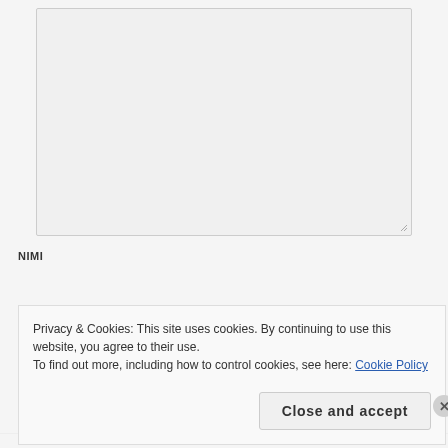[Figure (screenshot): A large empty textarea input field with a resize handle at the bottom-right corner, on a light gray background.]
NIMI
[Figure (screenshot): A single-line text input box, empty, with a light border.]
Privacy & Cookies: This site uses cookies. By continuing to use this website, you agree to their use.
To find out more, including how to control cookies, see here: Cookie Policy
Close and accept